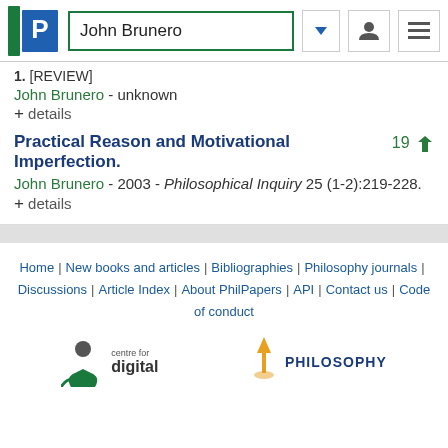John Brunero
1. [REVIEW]
John Brunero - unknown
+ details
Practical Reason and Motivational Imperfection. 19
John Brunero - 2003 - Philosophical Inquiry 25 (1-2):219-228.
+ details
Home | New books and articles | Bibliographies | Philosophy journals | Discussions | Article Index | About PhilPapers | API | Contact us | Code of conduct